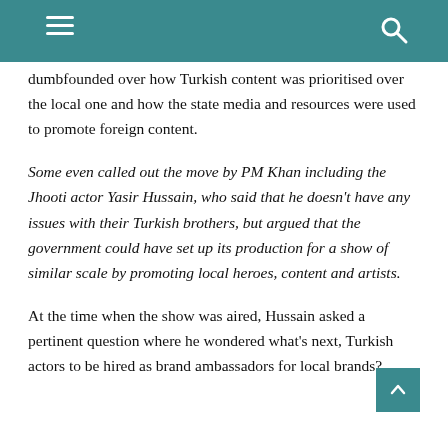[Navigation bar with hamburger menu and search icon]
dumbfounded over how Turkish content was prioritised over the local one and how the state media and resources were used to promote foreign content.
Some even called out the move by PM Khan including the Jhooti actor Yasir Hussain, who said that he doesn't have any issues with their Turkish brothers, but argued that the government could have set up its production for a show of similar scale by promoting local heroes, content and artists.
At the time when the show was aired, Hussain asked a pertinent question where he wondered what's next, Turkish actors to be hired as brand ambassadors for local brands?